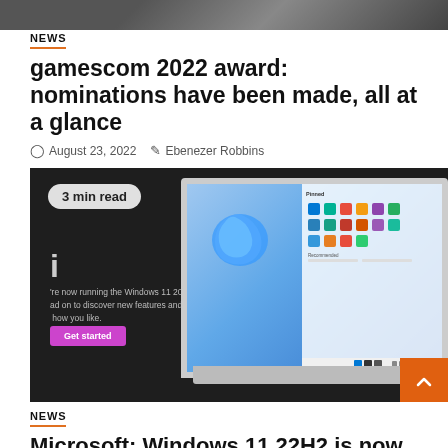[Figure (photo): Top banner image showing a dark scene, partially visible]
NEWS
gamescom 2022 award: nominations have been made, all at a glance
August 23, 2022   Ebenezer Robbins
[Figure (screenshot): Screenshot of a Windows 11 laptop showing the Windows 11 2022 Update welcome screen with a badge reading '3 min read']
NEWS
Microsoft: Windows 11 22H2 is now called